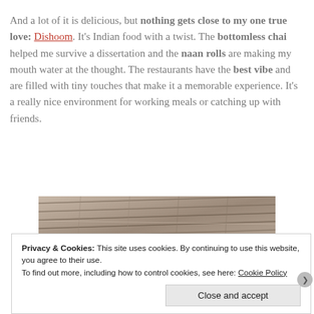And a lot of it is delicious, but nothing gets close to my one true love: Dishoom. It's Indian food with a twist. The bottomless chai helped me survive a dissertation and the naan rolls are making my mouth water at the thought. The restaurants have the best vibe and are filled with tiny touches that make it a memorable experience. It's a really nice environment for working meals or catching up with friends.
[Figure (photo): Interior photo of Dishoom restaurant showing a ceiling with geometric wooden slat panels and warm lighting.]
Privacy & Cookies: This site uses cookies. By continuing to use this website, you agree to their use. To find out more, including how to control cookies, see here: Cookie Policy
Close and accept